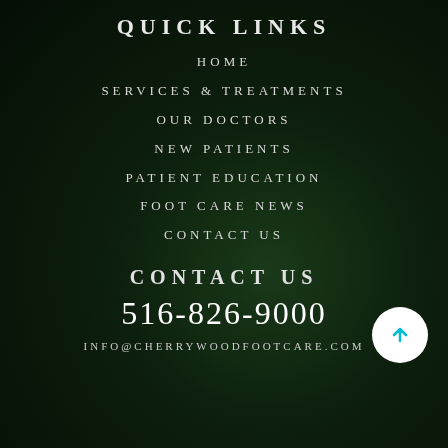QUICK LINKS
HOME
SERVICES & TREATMENTS
OUR DOCTORS
NEW PATIENTS
PATIENT EDUCATION
FOOT CARE NEWS
CONTACT US
CONTACT US
516-826-9000
INFO@CHERRYWOODFOOTCARE.COM